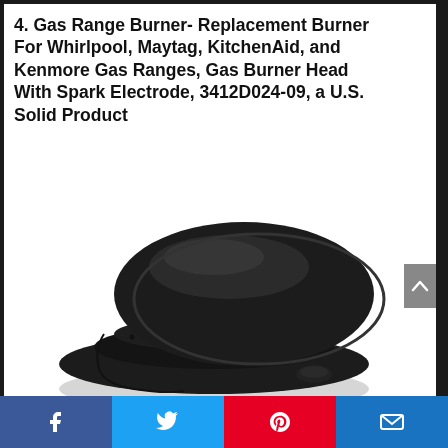4. Gas Range Burner- Replacement Burner For Whirlpool, Maytag, KitchenAid, and Kenmore Gas Ranges, Gas Burner Head With Spark Electrode, 3412D024-09, a U.S. Solid Product
[Figure (photo): A black gas range burner head with spark electrode, shown from a side-angled view against a white background. The burner is circular with a flat cap on top and visible gas ports around the edge.]
Social share bar with Facebook, Twitter, Pinterest, and Email buttons